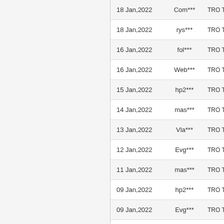| Date | User | Code |
| --- | --- | --- |
| 18 Jan,2022 | Com*** | TRO TGI |
| 18 Jan,2022 | rys*** | TRO TTE |
| 16 Jan,2022 | fol*** | TRO TUY |
| 16 Jan,2022 | Web*** | TRO TYR |
| 15 Jan,2022 | hp2*** | TRO TYO |
| 14 Jan,2022 | mas*** | TRO TTm |
| 13 Jan,2022 | Vla*** | TRO TPe |
| 12 Jan,2022 | Evg*** | TRO TSO |
| 11 Jan,2022 | mas*** | TRO TTm |
| 09 Jan,2022 | hp2*** | TRO TYO |
| 09 Jan,2022 | Evg*** | TRO TSO |
| 09 Jan,2022 | Web*** | TRO TYR |